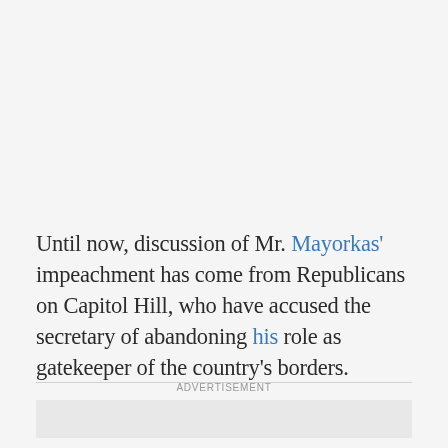Until now, discussion of Mr. Mayorkas' impeachment has come from Republicans on Capitol Hill, who have accused the secretary of abandoning his role as gatekeeper of the country's borders.
ADVERTISEMENT